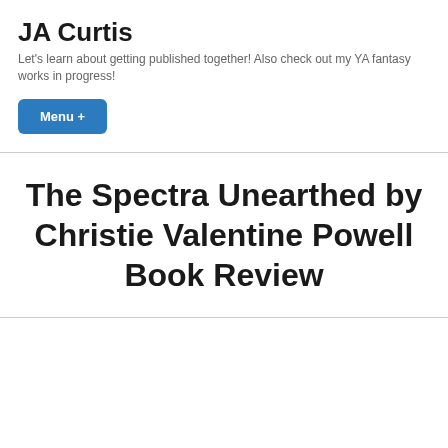JA Curtis
Let's learn about getting published together! Also check out my YA fantasy works in progress!
Menu +
The Spectra Unearthed by Christie Valentine Powell Book Review